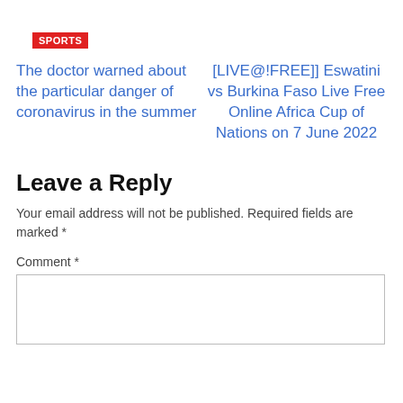SPORTS
The doctor warned about the particular danger of coronavirus in the summer
[LIVE@!FREE]] Eswatini vs Burkina Faso Live Free Online Africa Cup of Nations on 7 June 2022
Leave a Reply
Your email address will not be published. Required fields are marked *
Comment *